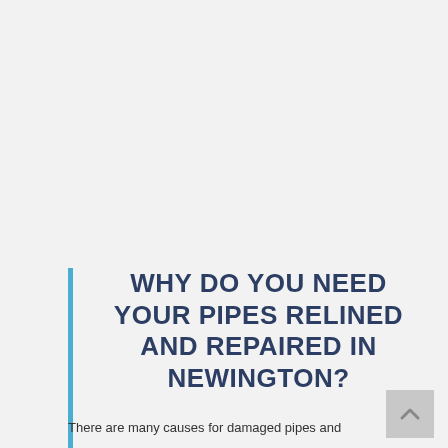WHY DO YOU NEED YOUR PIPES RELINED AND REPAIRED IN NEWINGTON?
There are many causes for damaged pipes and